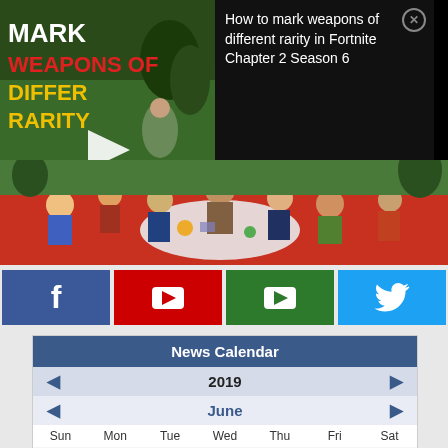[Figure (screenshot): Video thumbnail showing 'Mark Weapons of Different Rarity' Fortnite YouTube video with play button overlay and game screenshot background]
How to mark weapons of different rarity in Fortnite Chapter 2 Season 6
[Figure (illustration): Colorful illustrated artwork with many cartoon characters in a busy scene]
[Figure (screenshot): Social media icons strip: Facebook (f), YouTube (red play), YouTube (green play), Twitter (bird)]
| Sun | Mon | Tue | Wed | Thu | Fri | Sat |
| --- | --- | --- | --- | --- | --- | --- |
|  |  |  |  |  |  | 1 |
| 2 | 3 | 4 | 5 | 6 | 7 |  |
News Calendar
2019
June